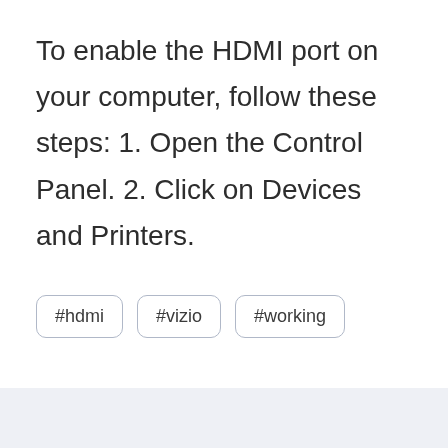To enable the HDMI port on your computer, follow these steps: 1. Open the Control Panel. 2. Click on Devices and Printers.
#hdmi
#vizio
#working